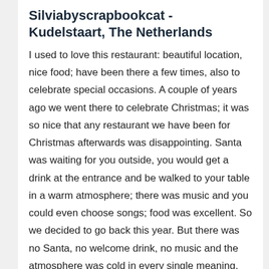Silviabyscrapbookcat - Kudelstaart, The Netherlands
I used to love this restaurant: beautiful location, nice food; have been there a few times, also to celebrate special occasions. A couple of years ago we went there to celebrate Christmas; it was so nice that any restaurant we have been for Christmas afterwards was disappointing. Santa was waiting for you outside, you would get a drink at the entrance and be walked to your table in a warm atmosphere; there was music and you could even choose songs; food was excellent. So we decided to go back this year. But there was no Santa, no welcome drink, no music and the atmosphere was cold in every single meaning. The table was at the end of a corridor connected to the main door. When it